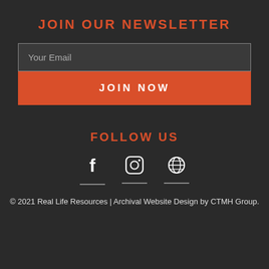JOIN OUR NEWSLETTER
Your Email
JOIN NOW
FOLLOW US
[Figure (illustration): Three social media icons: Facebook (f), Instagram (camera/circle), and a globe/website icon, each with a short underline beneath]
© 2021 Real Life Resources | Archival Website Design by CTMH Group.